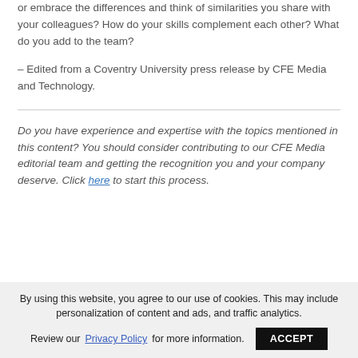or embrace the differences and think of similarities you share with your colleagues? How do your skills complement each other? What do you add to the team?
– Edited from a Coventry University press release by CFE Media and Technology.
Do you have experience and expertise with the topics mentioned in this content? You should consider contributing to our CFE Media editorial team and getting the recognition you and your company deserve. Click here to start this process.
By using this website, you agree to our use of cookies. This may include personalization of content and ads, and traffic analytics. Review our Privacy Policy for more information. ACCEPT